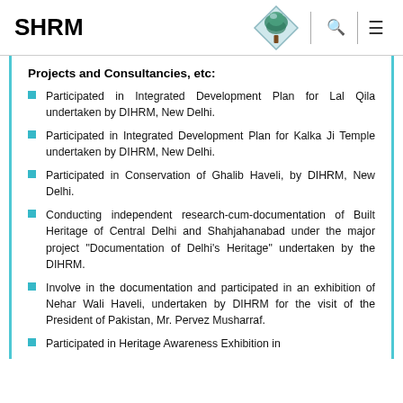SHRM
Projects and Consultancies, etc:
Participated in Integrated Development Plan for Lal Qila undertaken by DIHRM, New Delhi.
Participated in Integrated Development Plan for Kalka Ji Temple undertaken by DIHRM, New Delhi.
Participated in Conservation of Ghalib Haveli, by DIHRM, New Delhi.
Conducting independent research-cum-documentation of Built Heritage of Central Delhi and Shahjahanabad under the major project "Documentation of Delhi's Heritage" undertaken by the DIHRM.
Involve in the documentation and participated in an exhibition of Nehar Wali Haveli, undertaken by DIHRM for the visit of the President of Pakistan, Mr. Pervez Musharraf.
Participated in Heritage Awareness Exhibition in